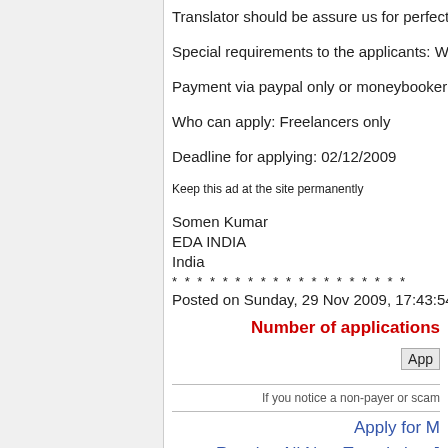Translator should be assure us for perfect tr...
Special requirements to the applicants: We c...
Payment via paypal only or moneybooker .
Who can apply: Freelancers only
Deadline for applying: 02/12/2009
Keep this ad at the site permanently
Somen Kumar
EDA INDIA
India
* * * * * * * * * * * * * * * * * * *
Posted on Sunday, 29 Nov 2009, 17:43:54
Number of applications
App
If you notice a non-payer or scam
Apply for M
Receive All New Translation J